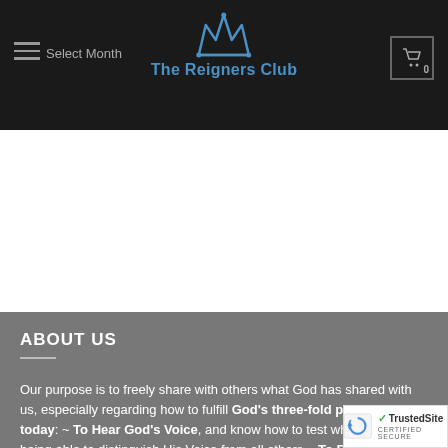The Reigners Club — Select Month
[Figure (screenshot): White blank area below header]
ABOUT US
Our purpose is to freely share with others what God has shared with us, especially regarding how to fulfill God's three-fold purpose for us today: ~ To Hear God's Voice, and know how to test what we hear by being able to distinguish His Voice from all others ~ To Rule and Reign as a Spiritual being to Rule over our Soul and Reign over our Circumstances as sons on this Earth ~ To Mentor Others, sharing